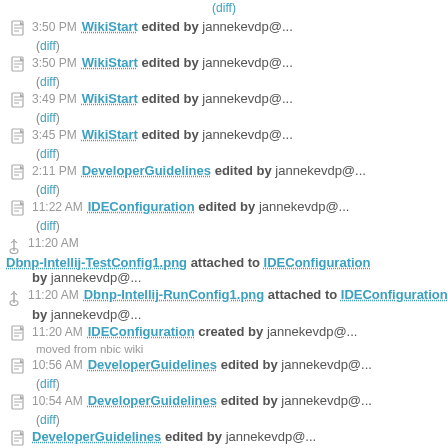(diff)
3:50 PM WikiStart edited by jannekevdp@... (diff)
3:50 PM WikiStart edited by jannekevdp@... (diff)
3:49 PM WikiStart edited by jannekevdp@... (diff)
3:45 PM WikiStart edited by jannekevdp@... (diff)
2:11 PM DeveloperGuidelines edited by jannekevdp@... (diff)
11:22 AM IDEConfiguration edited by jannekevdp@... (diff)
11:20 AM Dbnp-Intellij-TestConfig1.png attached to IDEConfiguration by jannekevdp@...
11:20 AM Dbnp-Intellij-RunConfig1.png attached to IDEConfiguration by jannekevdp@...
11:20 AM IDEConfiguration created by jannekevdp@... moved from nbic wiki
10:56 AM DeveloperGuidelines edited by jannekevdp@... (diff)
10:54 AM DeveloperGuidelines edited by jannekevdp@... (diff)
DeveloperGuidelines edited by jannekevdp@...